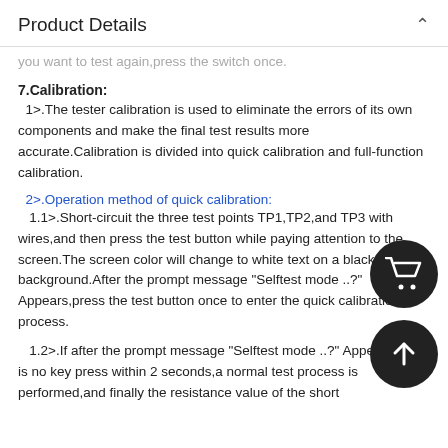Product Details
you want to test again,press the switch once.
7.Calibration:
1>.The tester calibration is used to eliminate the errors of its own components and make the final test results more accurate.Calibration is divided into quick calibration and full-function calibration.
2>.Operation method of quick calibration:
1.1>.Short-circuit the three test points TP1,TP2,and TP3 with wires,and then press the test button while paying attention to the screen.The screen color will change to white text on a black background.After the prompt message "Selftest mode ..?" Appears,press the test button once to enter the quick calibration process.
1.2>.If after the prompt message "Selftest mode ..?" Appears,there is no key press within 2 seconds,a normal test process is performed,and finally the resistance value of the short